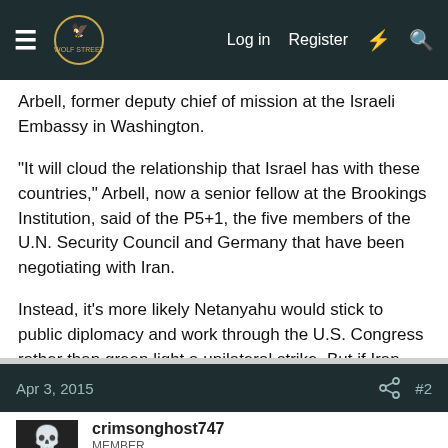Log in | Register
Arbell, former deputy chief of mission at the Israeli Embassy in Washington.
"It will cloud the relationship that Israel has with these countries," Arbell, now a senior fellow at the Brookings Institution, said of the P5+1, the five members of the U.N. Security Council and Germany that have been negotiating with Iran.
Instead, it's more likely Netanyahu would stick to public diplomacy and work through the U.S. Congress rather than green light a unilateral strike. But if Iran violates the term of the agreement, that could open up the door for Israeli action, Yadlin said.
Apr 3, 2015  #2
crimsonghost747
MEMBER